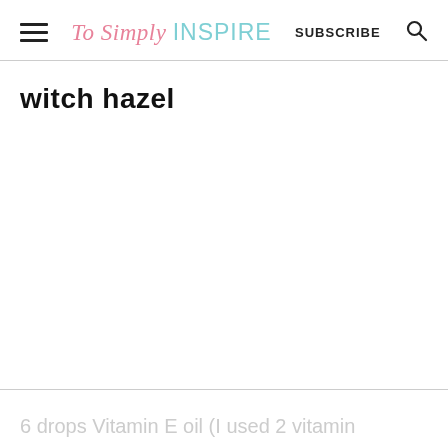To Simply INSPIRE   SUBSCRIBE
witch hazel
6 drops Vitamin E oil (I used 2 vitamin